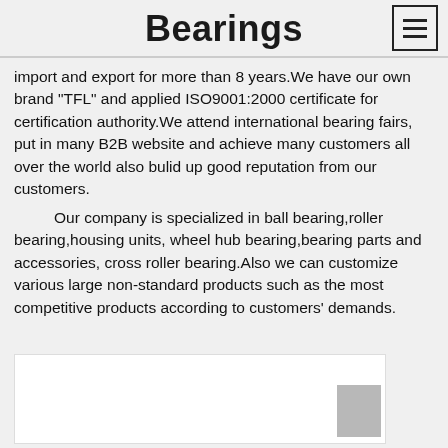Bearings
import and export for more than 8 years.We have our own brand "TFL" and applied ISO9001:2000 certificate for certification authority.We attend international bearing fairs, put in many B2B website and achieve many customers all over the world also bulid up good reputation from our customers.
Our company is specialized in ball bearing,roller bearing,housing units, wheel hub bearing,bearing parts and accessories, cross roller bearing.Also we can customize various large non-standard products such as the most competitive products according to customers' demands.
[Figure (photo): Partially visible product or company image at the bottom of the page with a gray block element in the lower right area]